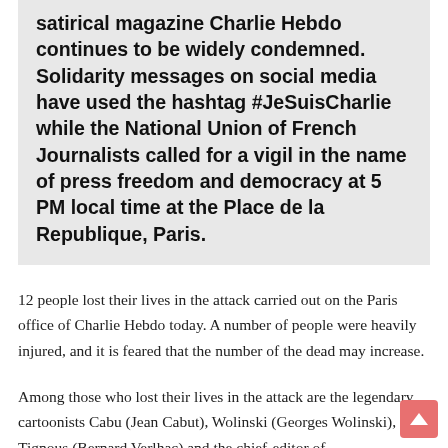satirical magazine Charlie Hebdo continues to be widely condemned. Solidarity messages on social media have used the hashtag #JeSuisCharlie while the National Union of French Journalists called for a vigil in the name of press freedom and democracy at 5 PM local time at the Place de la Republique, Paris.
12 people lost their lives in the attack carried out on the Paris office of Charlie Hebdo today. A number of people were heavily injured, and it is feared that the number of the dead may increase.
Among those who lost their lives in the attack are the legendary cartoonists Cabu (Jean Cabut), Wolinski (Georges Wolinski), Tignous (Bernard Verlhac) and the chief-editor of